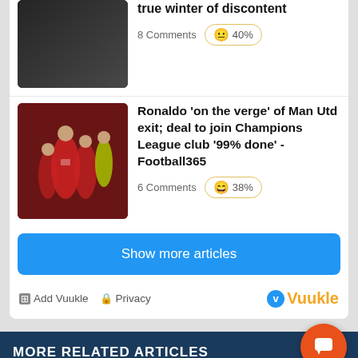true winter of discontent
8 Comments  😐 40%
[Figure (photo): Ronaldo and Man Utd players on football pitch, players in red jerseys]
Ronaldo 'on the verge' of Man Utd exit; deal to join Champions League club '99% done' - Football365
6 Comments  😄 38%
Show more articles
⊞ Add Vuukle  🔒 Privacy
v Vuukle
MORE RELATED ARTICLES
Five dinky defenders as